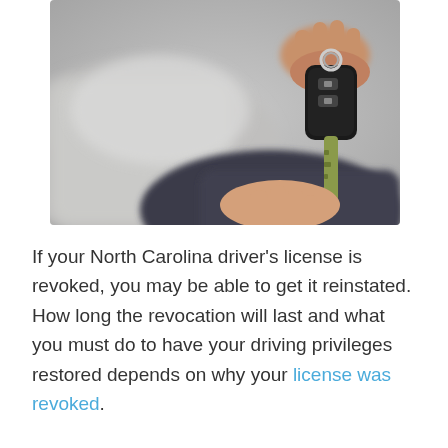[Figure (photo): Close-up photo of a hand holding car keys with a key fob, passing them to another hand, with a blurred car in the background.]
If your North Carolina driver's license is revoked, you may be able to get it reinstated. How long the revocation will last and what you must do to have your driving privileges restored depends on why your license was revoked.